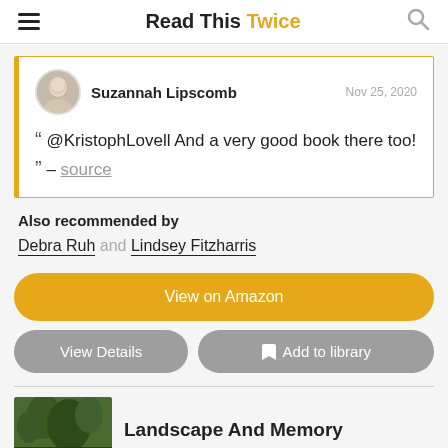Read This Twice
Suzannah Lipscomb   Nov 25, 2020
““ @KristophLovell And a very good book there too! ”” – source
Also recommended by
Debra Ruh and Lindsey Fitzharris
View on Amazon
View Details
Add to library
Landscape And Memory